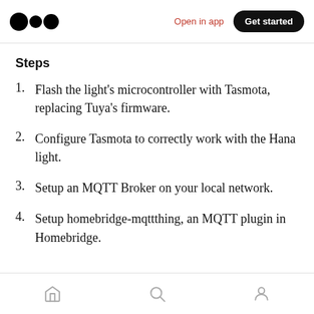Open in app | Get started
Steps
1. Flash the light's microcontroller with Tasmota, replacing Tuya's firmware.
2. Configure Tasmota to correctly work with the Hana light.
3. Setup an MQTT Broker on your local network.
4. Setup homebridge-mqttthing, an MQTT plugin in Homebridge.
Home | Search | Profile